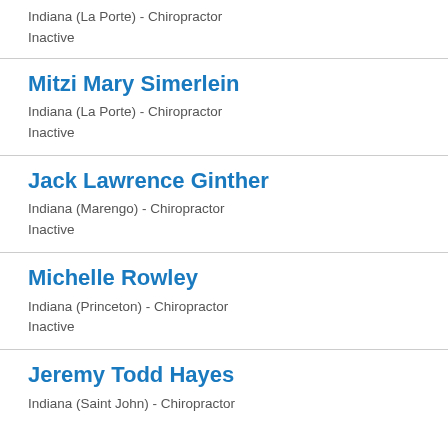Indiana (La Porte) - Chiropractor
Inactive
Mitzi Mary Simerlein
Indiana (La Porte) - Chiropractor
Inactive
Jack Lawrence Ginther
Indiana (Marengo) - Chiropractor
Inactive
Michelle Rowley
Indiana (Princeton) - Chiropractor
Inactive
Jeremy Todd Hayes
Indiana (Saint John) - Chiropractor